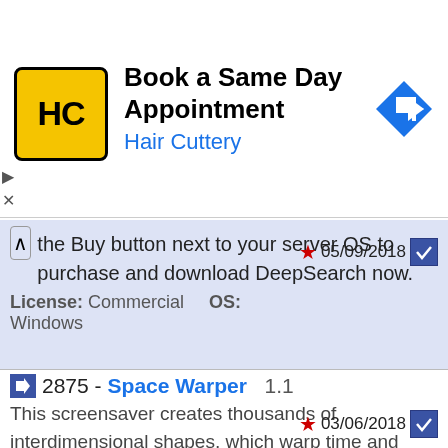[Figure (screenshot): Advertisement banner for Hair Cuttery with logo, title 'Book a Same Day Appointment', subtitle 'Hair Cuttery', and a blue diamond navigation arrow icon]
the Buy button next to your server OS to purchase and download DeepSearch now. License: Commercial   OS: Windows
05/09/2018
2875 - Space Warper  1.1
This screensaver creates thousands of interdimensional shapes, which warp time and space. Space warper will give you many hours of mystic experiences. License: Shareware    OS: Windows    Size: 1347 KB
03/06/2018